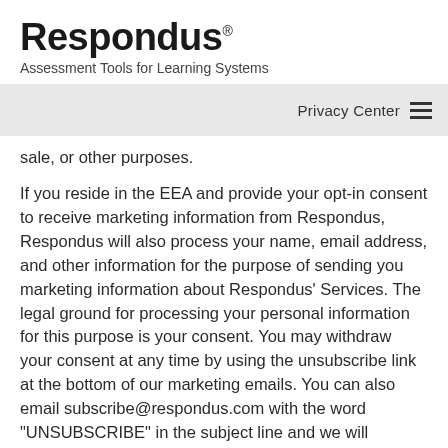Respondus® Assessment Tools for Learning Systems
Privacy Center
sale, or other purposes.
If you reside in the EEA and provide your opt-in consent to receive marketing information from Respondus, Respondus will also process your name, email address, and other information for the purpose of sending you marketing information about Respondus' Services. The legal ground for processing your personal information for this purpose is your consent. You may withdraw your consent at any time by using the unsubscribe link at the bottom of our marketing emails. You can also email subscribe@respondus.com with the word "UNSUBSCRIBE" in the subject line and we will unsubscribe your email address from future